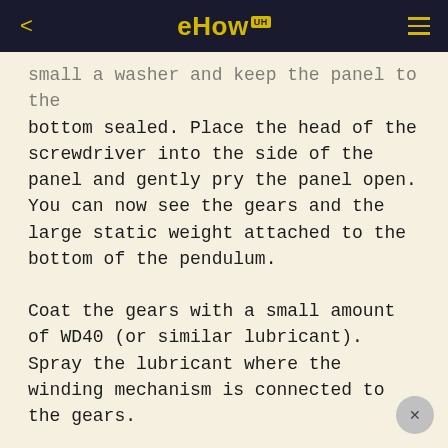eHow UH
small a washer and keep the panel to the bottom sealed. Place the head of the screwdriver into the side of the panel and gently pry the panel open. You can now see the gears and the large static weight attached to the bottom of the pendulum.
Coat the gears with a small amount of WD40 (or similar lubricant). Spray the lubricant where the winding mechanism is connected to the gears.